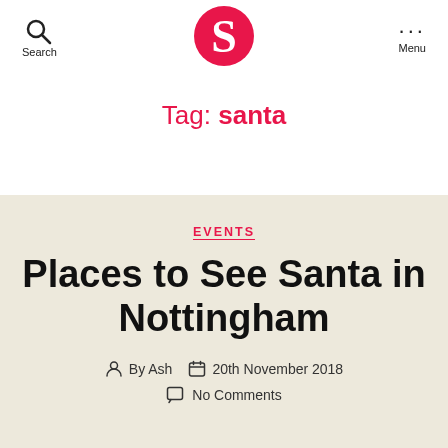Search | [Logo S] | Menu
Tag: santa
EVENTS
Places to See Santa in Nottingham
By Ash  20th November 2018  No Comments